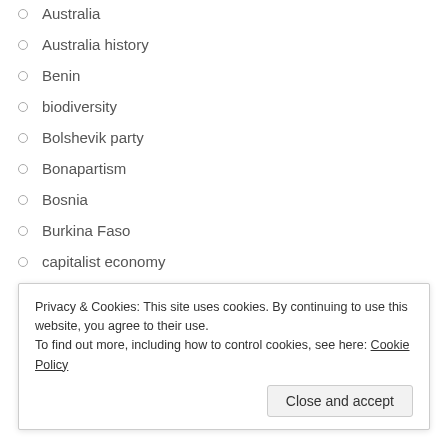Australia
Australia history
Benin
biodiversity
Bolshevik party
Bonapartism
Bosnia
Burkina Faso
capitalist economy
capitalist justice
capitalist state
causality
censorship
Privacy & Cookies: This site uses cookies. By continuing to use this website, you agree to their use.
To find out more, including how to control cookies, see here: Cookie Policy
Close and accept